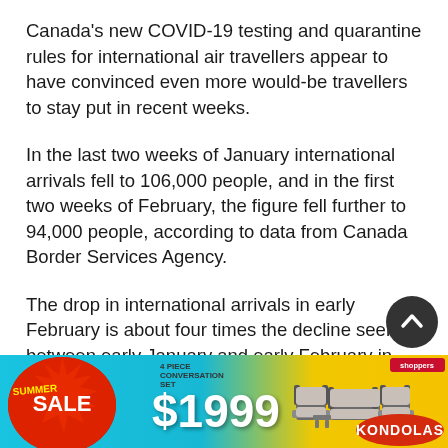Canada's new COVID-19 testing and quarantine rules for international air travellers appear to have convinced even more would-be travellers to stay put in recent weeks.
In the last two weeks of January international arrivals fell to 106,000 people, and in the first two weeks of February, the figure fell further to 94,000 people, according to data from Canada Border Services Agency.
The drop in international arrivals in early February is about four times the decline seen between early January and early February in 2019 and 2020.
It came after Ottawa started making all international ai…
[Figure (photo): Advertisement banner for Kondolas furniture Summer Sale showing outdoor patio furniture set with price $1999]